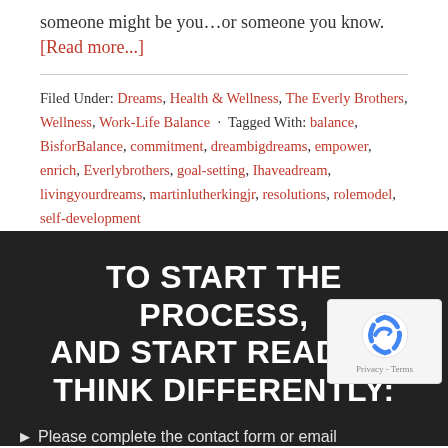someone might be you…or someone you know. [Read more...]
Filed Under: Dreams, Health & Wellness, The Everly Brothers, Wellness, Work-Life Balance · Tagged With: balance, BisforBalance, commitment, dreambigdreams, empower, enrich, Everlybrothers, goal-setting, Ihaveadream, livingyourdreams, martinlutherkingjr, resolutions, rolemodel, self-development
TO START THE PROCESS, AND START READING THINK DIFFERENTLY:
Please complete the contact form or email